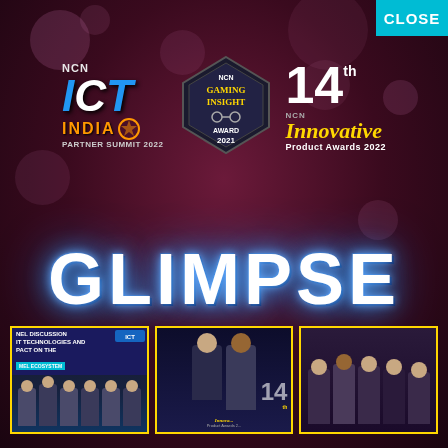[Figure (illustration): Event promotional page with dark purple/magenta background with bokeh effects, featuring three logos (NCN ICT India Partner Summit 2022, NCN Gaming Insight Award 2021, 14th NCN Innovative Product Awards 2022), large GLIMPSE text, and three event photos at the bottom showing panel discussion and award ceremonies]
CLOSE
GLIMPSE